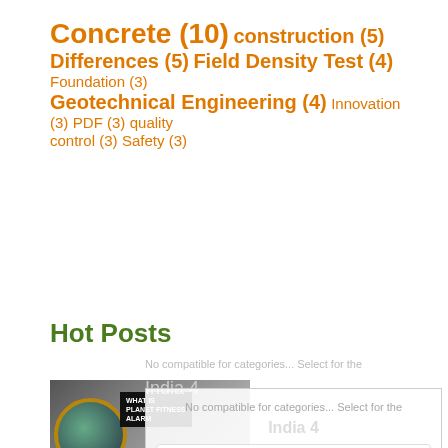Concrete (10) construction (5) Differences (5) Field Density Test (4) Foundation (3) Geotechnical Engineering (4) Innovation (3) PDF (3) quality control (3) Safety (3)
Hot Posts
[Figure (photo): Thumbnail image for a blog post about Planet Fitness Lunk Alarm, showing a circular photo with dark background and overlaid text 'WHAT IS PLANET FITNESS ALARM' with an orange banner.]
What is Planet Fitness Lunk Alarm? (Know it all)
[Figure (screenshot): Advertisement overlay showing a restaurant listing with logo, dine-in and curbside pickup checkmarks, and a navigation arrow icon, with triangular and X close buttons at bottom.]